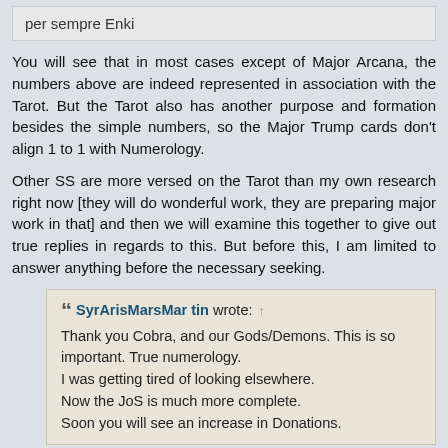per sempre Enki
You will see that in most cases except of Major Arcana, the numbers above are indeed represented in association with the Tarot. But the Tarot also has another purpose and formation besides the simple numbers, so the Major Trump cards don't align 1 to 1 with Numerology.
Other SS are more versed on the Tarot than my own research right now [they will do wonderful work, they are preparing major work in that] and then we will examine this together to give out true replies in regards to this. But before this, I am limited to answer anything before the necessary seeking.
SyrArisMarsMar tin wrote: ↑
Thank you Cobra, and our Gods/Demons. This is so important. True numerology.
I was getting tired of looking elsewhere.
Now the JoS is much more complete.
Soon you will see an increase in Donations.
Thank you Brother, we are doing very serious work. There will be